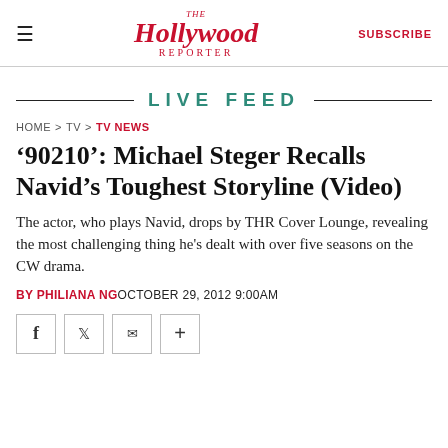The Hollywood Reporter | SUBSCRIBE
LIVE FEED
HOME > TV > TV NEWS
'90210': Michael Steger Recalls Navid's Toughest Storyline (Video)
The actor, who plays Navid, drops by THR Cover Lounge, revealing the most challenging thing he's dealt with over five seasons on the CW drama.
BY PHILIANA NG OCTOBER 29, 2012 9:00AM
[Figure (other): Social sharing buttons: Facebook, Twitter, Email, Plus]